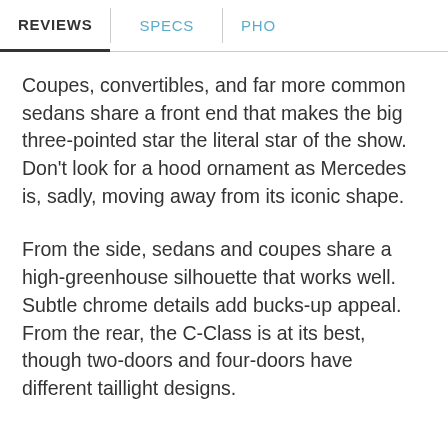REVIEWS | SPECS | PHO
Coupes, convertibles, and far more common sedans share a front end that makes the big three-pointed star the literal star of the show. Don’t look for a hood ornament as Mercedes is, sadly, moving away from its iconic shape.
From the side, sedans and coupes share a high-greenhouse silhouette that works well. Subtle chrome details add bucks-up appeal. From the rear, the C-Class is at its best, though two-doors and four-doors have different taillight designs.